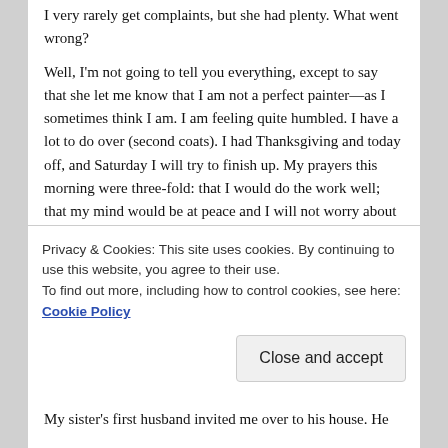I very rarely get complaints, but she had plenty. What went wrong?
Well, I'm not going to tell you everything, except to say that she let me know that I am not a perfect painter—as I sometimes think I am. I am feeling quite humbled. I have a lot to do over (second coats). I had Thanksgiving and today off, and Saturday I will try to finish up. My prayers this morning were three-fold: that I would do the work well; that my mind would be at peace and I will not worry about it; and that she (the owner) would settle down and not be so upset with me—to also be at peace.
Thanksgiving Day
Privacy & Cookies: This site uses cookies. By continuing to use this website, you agree to their use.
To find out more, including how to control cookies, see here: Cookie Policy
My sister's first husband invited me over to his house. He